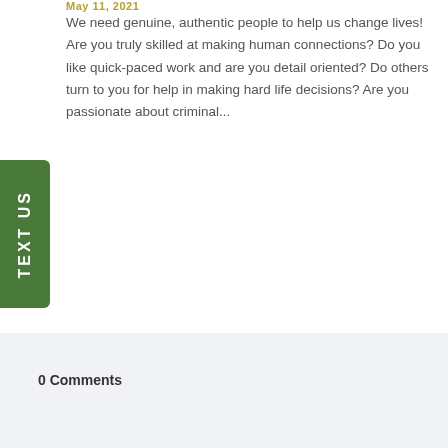May 11, 2021
We need genuine, authentic people to help us change lives! Are you truly skilled at making human connections? Do you like quick-paced work and are you detail oriented? Do others turn to you for help in making hard life decisions? Are you passionate about criminal...
0 Comments